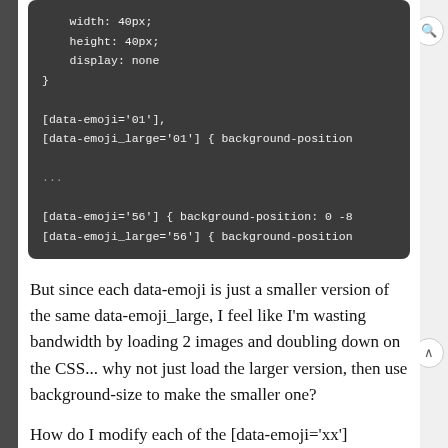[Figure (screenshot): Dark-themed code block showing CSS with width: 40px; height: 40px; display: none; and data-emoji attribute selectors with background-position properties, with ellipsis indicating truncated content]
But since each data-emoji is just a smaller version of the same data-emoji_large, I feel like I'm wasting bandwidth by loading 2 images and doubling down on the CSS... why not just load the larger version, then use background-size to make the smaller one?
How do I modify each of the [data-emoji='xx']